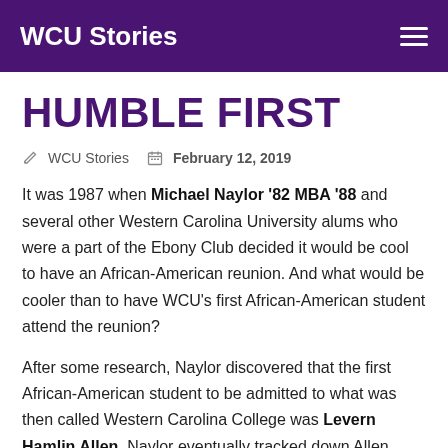WCU Stories
HUMBLE FIRST
WCU Stories   February 12, 2019
It was 1987 when Michael Naylor '82 MBA '88 and several other Western Carolina University alums who were a part of the Ebony Club decided it would be cool to have an African-American reunion. And what would be cooler than to have WCU's first African-American student attend the reunion?
After some research, Naylor discovered that the first African-American student to be admitted to what was then called Western Carolina College was Levern Hamlin Allen. Naylor eventually tracked down Allen, who was teaching in